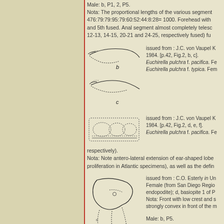Male: b, P1, 2, P5.
Nota: The proportional lengths of the various segment 476:79:79:95:79:60:52:44:8:28= 1000. Forehead with and 5th fused. Anal segment almost completely telesc 12-13, 14-15, 20-21 and 24-25, respectively fused) fu
[Figure (illustration): Biological illustration labeled b and c showing curved appendage structures of Euchirella pulchra]
issued from : J.C. von Vaupel K 1984. [p.42, Fig.2, b, c]. Euchirella pulchra f. pacifica. Fe Euchirella pulchra f. typica. Fem
[Figure (illustration): Biological illustration showing d, e, f structures of Euchirella pulchra f. pacifica]
issued from : J.C. von Vaupel K 1984. [p.42, Fig.2, d, e, f]. Euchirella pulchra f. pacifica. Fe respectively).
Nota: Note antero-lateral extension of ear-shaped lobe proliferation in Atlantic specimens), as well as the defin
[Figure (illustration): Biological illustration of female Euchirella from San Diego Region, showing endopodite and basiopite structures]
issued from : C.O. Esterly in Un Female (from San Diego Regio endopodite); d, basiopite 1 of P Nota: Front with low crest and s strongly convex in front of the m
Male: b, P5.